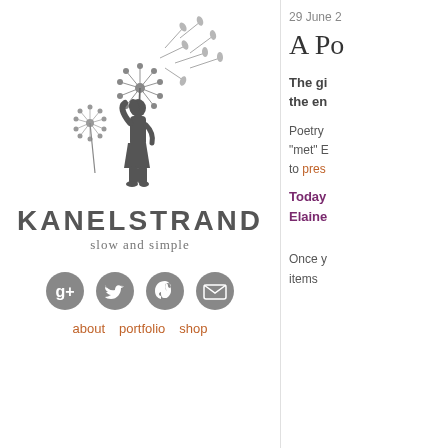[Figure (logo): Kanelstrand blog logo: silhouette of a girl reaching up toward dandelions with seeds blowing away, above the text KANELSTRAND slow and simple]
[Figure (infographic): Four social media icon circles: Google+, Twitter, Pinterest, Email]
about · portfolio · shop
29 June 2
A Po
The gi the en
Poetry "met" E to pres
Today Elaine
Once y items